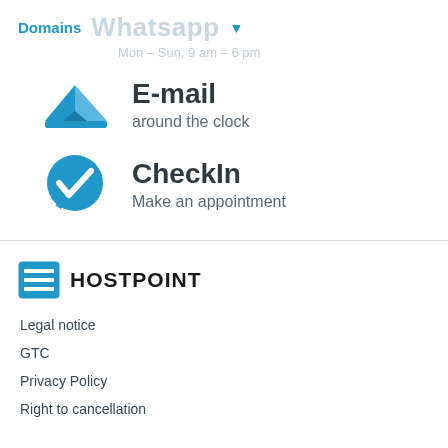Domains   Whatsapp ▼
Mon – Sun, 9 am – 6 pm
[Figure (illustration): Blue email/envelope icon with triangular sail-boat shape]
E-mail
around the clock
[Figure (illustration): Blue speech bubble with checkmark icon]
CheckIn
Make an appointment
[Figure (logo): Hostpoint logo: blue square with hamburger menu lines icon, followed by HOSTPOINT text]
Legal notice
GTC
Privacy Policy
Right to cancellation